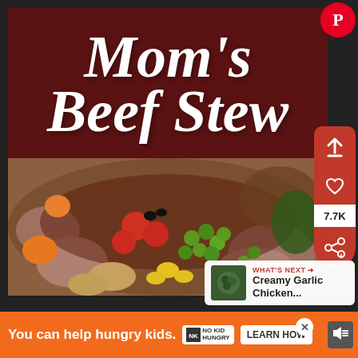[Figure (photo): Pinterest-style recipe pin for Mom's Beef Stew. Top half shows dark red/maroon banner with cursive white text reading 'Mom's Beef Stew'. Bottom half shows a closeup photo of beef stew with vegetables including tomatoes, peas, corn, and meat in a rich broth. Right side has Pinterest action buttons (share up arrow, heart, 7.7K count, share). A 'What's Next' preview shows 'Creamy Garlic Chicken...' with a food thumbnail. Bottom has an orange ad bar: 'You can help hungry kids.' with No Kid Hungry logo and 'LEARN HOW' button.]
Mom's Beef Stew
7.7K
WHAT'S NEXT → Creamy Garlic Chicken...
You can help hungry kids.
LEARN HOW